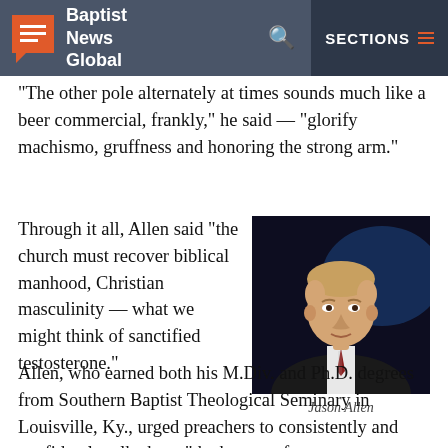Baptist News Global | SECTIONS
“The other pole alternately at times sounds much like a beer commercial, frankly,” he said — “glorify machismo, gruffness and honoring the strong arm.”
Through it all, Allen said “the church must recover biblical manhood, Christian masculinity — what we might think of sanctified testosterone.”
[Figure (photo): Photo of Jason Allen, a man in a dark suit with a striped tie, speaking at a podium against a dark background with blue light.]
Jason Allen
Allen, who earned both his M.Div. and Ph.D. degrees from Southern Baptist Theological Seminary in Louisville, Ky., urged preachers to consistently and confidently talk about “the beauty of complementarity,”